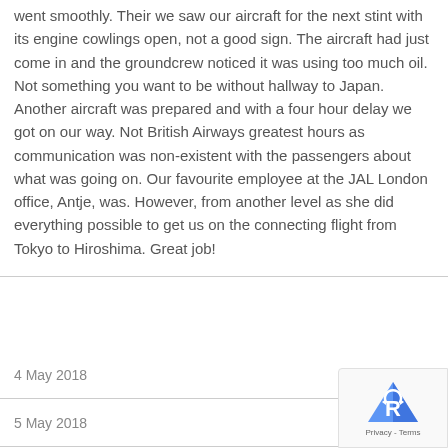went smoothly. Their we saw our aircraft for the next stint with its engine cowlings open, not a good sign. The aircraft had just come in and the groundcrew noticed it was using too much oil. Not something you want to be without hallway to Japan. Another aircraft was prepared and with a four hour delay we got on our way. Not British Airways greatest hours as communication was non-existent with the passengers about what was going on. Our favourite employee at the JAL London office, Antje, was. However, from another level as she did everything possible to get us on the connecting flight from Tokyo to Hiroshima. Great job!
4 May 2018
5 May 2018